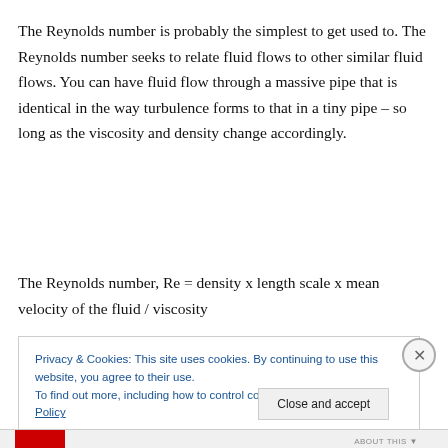The Reynolds number is probably the simplest to get used to. The Reynolds number seeks to relate fluid flows to other similar fluid flows. You can have fluid flow through a massive pipe that is identical in the way turbulence forms to that in a tiny pipe – so long as the viscosity and density change accordingly.
The Reynolds number, Re = density x length scale x mean velocity of the fluid / viscosity
Privacy & Cookies: This site uses cookies. By continuing to use this website, you agree to their use.
To find out more, including how to control cookies, see here: Cookie Policy